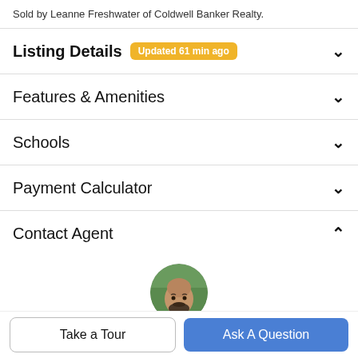Sold by Leanne Freshwater of Coldwell Banker Realty.
Listing Details  Updated 61 min ago
Features & Amenities
Schools
Payment Calculator
Contact Agent
[Figure (photo): Circular profile photo of a bald man with a beard wearing a dark shirt, set against a green outdoor background.]
Take a Tour
Ask A Question